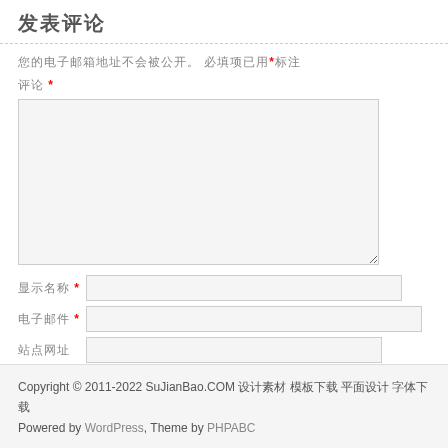发表评论
您的电子邮箱地址不会被公开。 必填项已用*标注
评论 *
显示名称 *
电子邮件 *
站点网址
在浏览器中保存我的姓名、邮件和网站
提交评论
此站点使用Akismet来减少垃圾评论。了解我们如何处理您的评论数据
Copyright © 2011-2022 SuJianBao.COM 设计素材 模板下载 平面设计 字体下载
Powered by WordPress, Theme by PHPABC